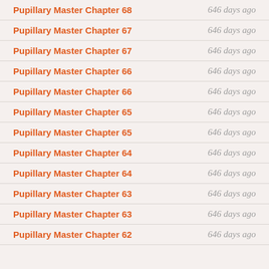Pupillary Master Chapter 68 | 646 days ago
Pupillary Master Chapter 67 | 646 days ago
Pupillary Master Chapter 67 | 646 days ago
Pupillary Master Chapter 66 | 646 days ago
Pupillary Master Chapter 66 | 646 days ago
Pupillary Master Chapter 65 | 646 days ago
Pupillary Master Chapter 65 | 646 days ago
Pupillary Master Chapter 64 | 646 days ago
Pupillary Master Chapter 64 | 646 days ago
Pupillary Master Chapter 63 | 646 days ago
Pupillary Master Chapter 63 | 646 days ago
Pupillary Master Chapter 62 | 646 days ago